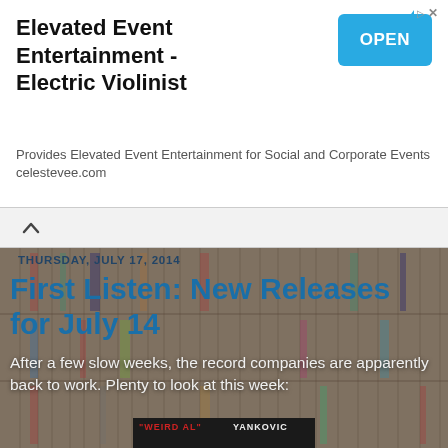[Figure (screenshot): Advertisement banner for Elevated Event Entertainment - Electric Violinist with OPEN button]
Elevated Event Entertainment - Electric Violinist
Provides Elevated Event Entertainment for Social and Corporate Events celestevee.com
[Figure (photo): Background photo of music record shelves]
THURSDAY, JULY 17, 2014
First Listen: New Releases for July 14
After a few slow weeks, the record companies are apparently back to work. Plenty to look at this week:
[Figure (photo): Album cover for Weird Al Yankovic showing him in a military uniform with soldiers, text reads WEIRD AL YANKOVIC]